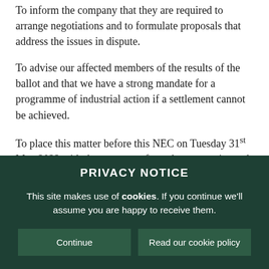To inform the company that they are required to arrange negotiations and to formulate proposals that address the issues in dispute.
To advise our affected members of the results of the ballot and that we have a strong mandate for a programme of industrial action if a settlement cannot be achieved.
To place this matter before this NEC on Tuesday 31st May 2022 with the responses from the companies and any reports on discussions so that we can set out the programme of industrial action that may be required in order to pursue this
PRIVACY NOTICE
This site makes use of cookies. If you continue we'll assume you are happy to receive them.
Continue
Read our cookie policy